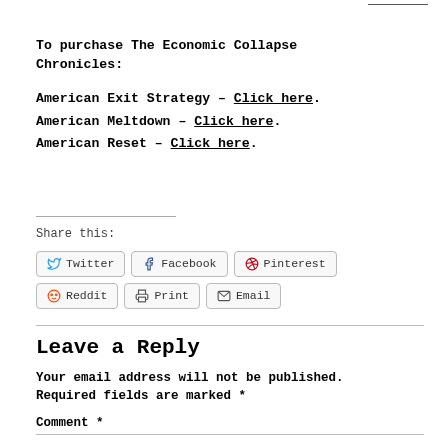To purchase The Economic Collapse Chronicles:
American Exit Strategy – Click here.
American Meltdown – Click here.
American Reset – Click here.
Share this:
Twitter Facebook Pinterest Reddit Print Email
Leave a Reply
Your email address will not be published. Required fields are marked *
Comment *